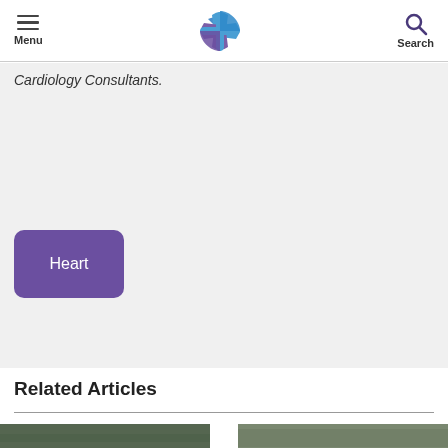Menu | [Logo] | Search
Cardiology Consultants.
Heart
Related Articles